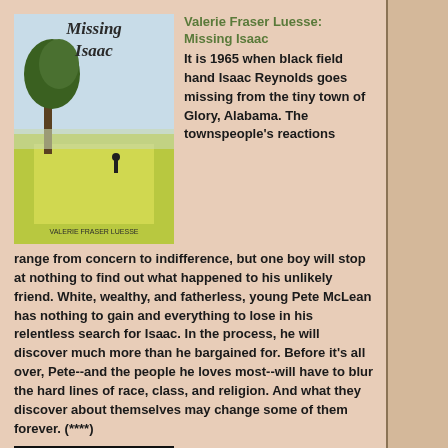[Figure (illustration): Book cover of 'Missing Isaac' by Valerie Fraser Luesse, showing a field with a tree and a figure.]
Valerie Fraser Luesse: Missing Isaac
It is 1965 when black field hand Isaac Reynolds goes missing from the tiny town of Glory, Alabama. The townspeople's reactions range from concern to indifference, but one boy will stop at nothing to find out what happened to his unlikely friend. White, wealthy, and fatherless, young Pete McLean has nothing to gain and everything to lose in his relentless search for Isaac. In the process, he will discover much more than he bargained for. Before it's all over, Pete--and the people he loves most--will have to blur the hard lines of race, class, and religion. And what they discover about themselves may change some of them forever. (****)
[Figure (illustration): Book cover showing 'STEPHEN KING' text in gold letters on a dark background.]
Stephen King: The